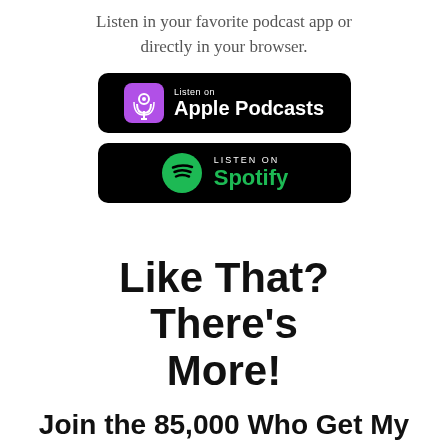Listen in your favorite podcast app or directly in your browser.
[Figure (logo): Listen on Apple Podcasts badge — black rounded rectangle with purple podcast icon and white text]
[Figure (logo): Listen on Spotify badge — black rounded rectangle with green Spotify logo and green Spotify text]
Like That? There's More!
Join the 85,000 Who Get My Best